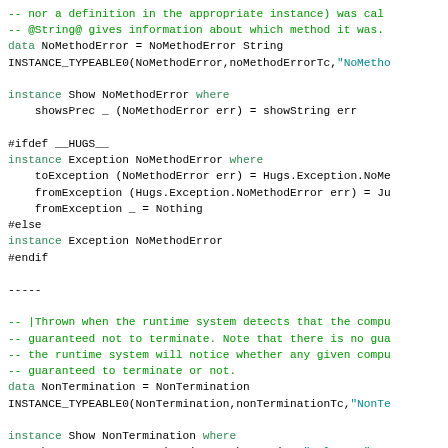-- nor a definition in the appropriate instance) was ca...
-- @String@ gives information about which method it was.
data NoMethodError = NoMethodError String
INSTANCE_TYPEABLE0(NoMethodError,noMethodErrorTc,"NoMetho

instance Show NoMethodError where
    showsPrec _ (NoMethodError err) = showString err

#ifdef __HUGS__
instance Exception NoMethodError where
    toException (NoMethodError err) = Hugs.Exception.NoMe...
    fromException (Hugs.Exception.NoMethodError err) = Ju...
    fromException _ = Nothing
#else
instance Exception NoMethodError
#endif

-----

-- |Thrown when the runtime system detects that the comp...
-- guaranteed not to terminate. Note that there is no gu...
-- the runtime system will notice whether any given comp...
-- guaranteed to terminate or not.
data NonTermination = NonTermination
INSTANCE_TYPEABLE0(NonTermination,nonTerminationTc,"NonTe

instance Show NonTermination where
    showsPrec _ NonTermination = showString "<<loop>>"

#ifdef __HUGS__